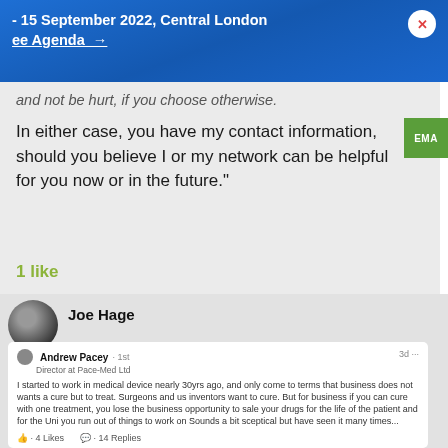- 15 September 2022, Central London
ee Agenda →
and not be hurt, if you choose otherwise.
In either case, you have my contact information, should you believe I or my network can be helpful for you now or in the future."
1 like
Joe Hage
Andrew Pacey · 1st
Director at Pace-Med Ltd
I started to work in medical device nearly 30yrs ago, and only come to terms that business does not wants a cure but to treat. Surgeons and us inventors want to cure. But for business if you can cure with one treatment, you lose the business opportunity to sale your drugs for the life of the patient and for the Uni you run out of things to work on Sounds a bit sceptical but have seen it many times...
· 4 Likes   · 14 Replies
Joe Hage Author
🔥 Find me at MedicalDevicesGroup.net 🔥
As time passes, I find myself assuming most businesses come down to money. If it's profitable for me, I'll do it.